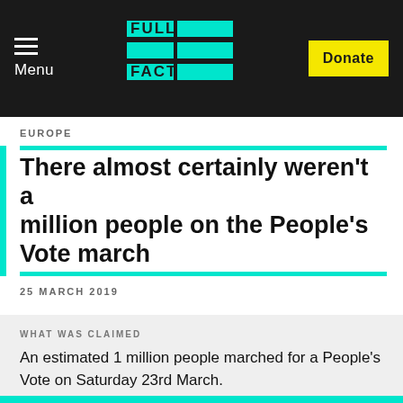Full Fact — Menu | Donate
EUROPE
There almost certainly weren't a million people on the People's Vote march
25 MARCH 2019
WHAT WAS CLAIMED
An estimated 1 million people marched for a People's Vote on Saturday 23rd March.